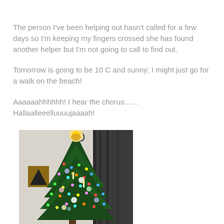The person I've been helping out hasn't called for a few days so I'm keeping my fingers crossed she has found another helper but I'm not going to call to find out.
Tomorrow is going to be 10 C and sunny; I might just go for a walk on the beach!
Aaaaaahhhhhh!  I hear the chorus……
Hallaalleeelluuuujaaaah!
[Figure (photo): A decorated Christmas tree with colourful lights and ornaments, a bright star or angel topper, set in a living room with a dark curtain and framed picture on the wall in the background.]